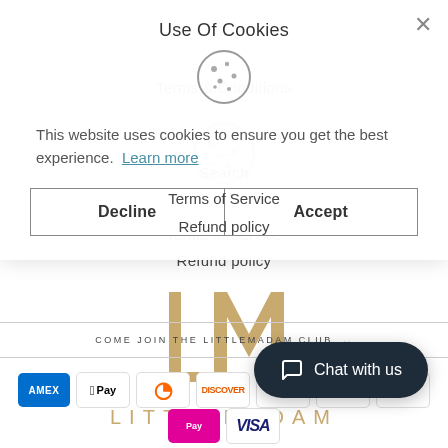Use Of Cookies
Terms & Conditions
[Figure (illustration): Cookie icon — circular cookie with dots/chips]
Search
Terms of Service
Refund policy
This website uses cookies to ensure you get the best experience.  Learn more
Decline | Accept
COME JOIN THE LITTLEMADAM CLUB
[Figure (logo): LittleMadam LM monogram logo in gold/tan and brand name LITTLEMADAM below]
[Figure (other): Payment icons row: Amex, Apple Pay, Diners Club, Discover, Google Pay, Maestro dots, PayPal, D.Pay, Visa]